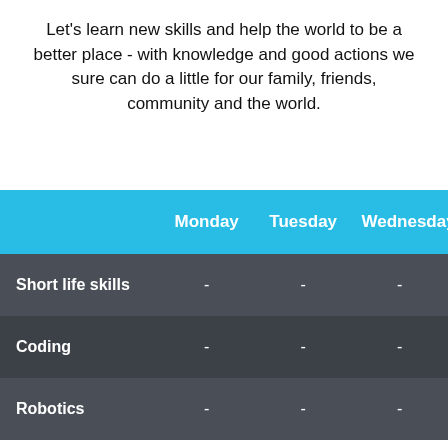Let's learn new skills and help the world to be a better place - with knowledge and good actions we sure can do a little for our family, friends, community and the world.
|  | Monday | Tuesday | Wednesday |
| --- | --- | --- | --- |
| Short life skills | - | - | - |
| Coding | - | - | - |
| Robotics | - | - | - |